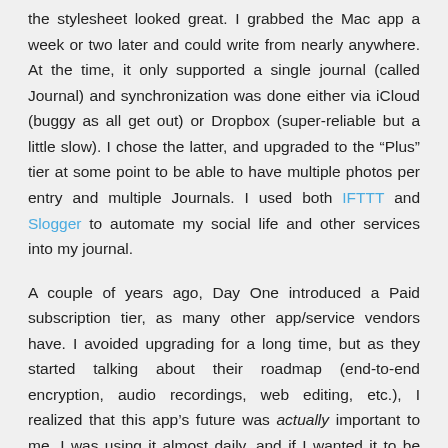the stylesheet looked great. I grabbed the Mac app a week or two later and could write from nearly anywhere. At the time, it only supported a single journal (called Journal) and synchronization was done either via iCloud (buggy as all get out) or Dropbox (super-reliable but a little slow). I chose the latter, and upgraded to the “Plus” tier at some point to be able to have multiple photos per entry and multiple Journals. I used both IFTTT and Slogger to automate my social life and other services into my journal.
A couple of years ago, Day One introduced a Paid subscription tier, as many other app/service vendors have. I avoided upgrading for a long time, but as they started talking about their roadmap (end-to-end encryption, audio recordings, web editing, etc.), I realized that this app’s future was actually important to me. I was using it almost daily, and if I wanted it to be there in the future, it behooved me to provide, in some small part, financial support. Since then, those first two features have arrived and then some, and they continue to be worth every penny.